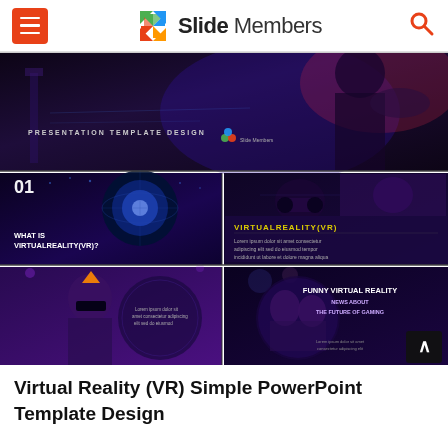[Figure (screenshot): Slide Members website header with hamburger menu (red), colorful pinwheel logo, 'Slide Members' text, and search icon]
[Figure (screenshot): Preview gallery of Virtual Reality (VR) Simple PowerPoint Template Design slides showing dark purple/blue themed slides with VR headset imagery and text overlays including 'WHAT IS VIRTUALREALITY(VR)?', 'VIRTUALREALITY(VR)', 'FUNNY VIRTUAL REALITY NEWS ABOUT THE FUTURE OF GAMING']
Virtual Reality (VR) Simple PowerPoint Template Design